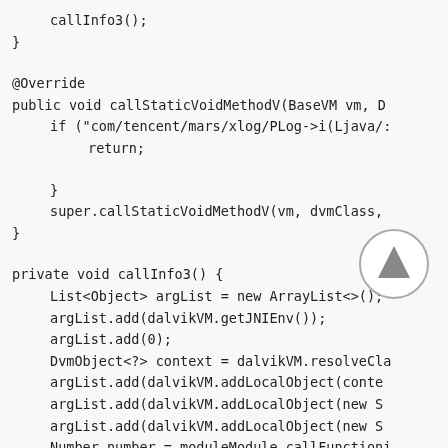callInfo3();
}

@Override
public void callStaticVoidMethodV(BaseVM vm, D
    if ("com/tencent/mars/xlog/PLog->i(Ljava/:
        return;
    }
    super.callStaticVoidMethodV(vm, dvmClass,
}

private void callInfo3() {
    List<Object> argList = new ArrayList<>();
    argList.add(dalvikVM.getJNIEnv());
    argList.add(0);
    DvmObject<?> context = dalvikVM.resolveCla
    argList.add(dalvikVM.addLocalObject(conte
    argList.add(dalvikVM.addLocalObject(new S
    argList.add(dalvikVM.addLocalObject(new S
    Number number = moduleModule.callFunctioni